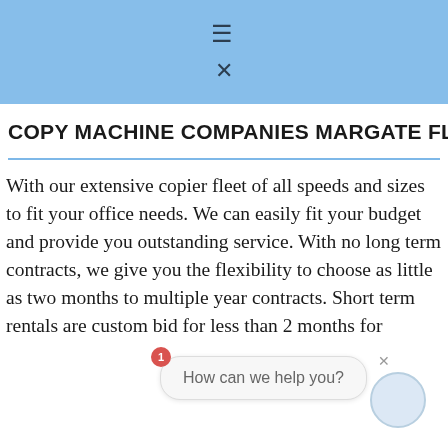≡  ×
COPY MACHINE COMPANIES MARGATE FLORIDA
With our extensive copier fleet of all speeds and sizes to fit your office needs. We can easily fit your budget and provide you outstanding service. With no long term contracts, we give you the flexibility to choose as little as two months to multiple year contracts. Short term rentals are custom bid for less than 2 months for